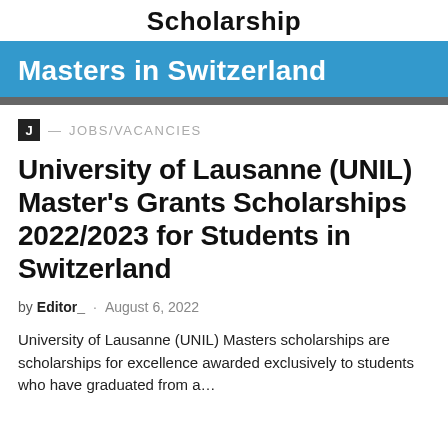Scholarship
[Figure (infographic): Blue banner with white bold text reading 'Masters in Switzerland' with a gray stripe below]
J — JOBS/VACANCIES
University of Lausanne (UNIL) Master's Grants Scholarships 2022/2023 for Students in Switzerland
[Figure (infographic): Green popup overlay with white text 'Join our Whatsapp Group' and an X close button]
by Editor_ · August 6, 2022
University of Lausanne (UNIL) Masters scholarships are scholarships for excellence awarded exclusively to students who have graduated from a...